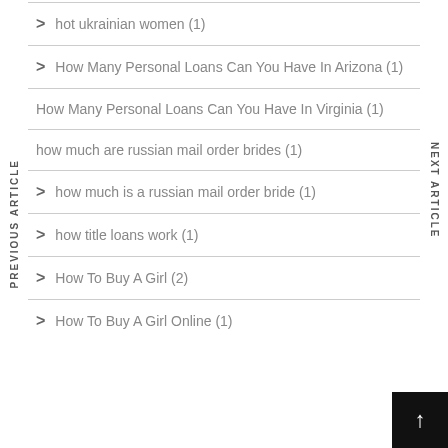hot ukrainian women (1)
How Many Personal Loans Can You Have In Arizona (1)
How Many Personal Loans Can You Have In Virginia (1)
how much are russian mail order brides (1)
how much is a russian mail order bride (1)
how title loans work (1)
How To Buy A Girl (2)
How To Buy A Girl Online (1)